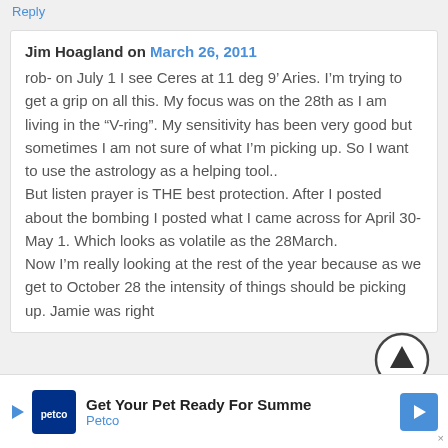Reply
Jim Hoagland on March 26, 2011
rob- on July 1 I see Ceres at 11 deg 9’ Aries. I’m trying to get a grip on all this. My focus was on the 28th as I am living in the “V-ring”. My sensitivity has been very good but sometimes I am not sure of what I’m picking up. So I want to use the astrology as a helping tool..
But listen prayer is THE best protection. After I posted about the bombing I posted what I came across for April 30- May 1. Which looks as volatile as the 28March.
Now I’m really looking at the rest of the year because as we get to October 28 the intensity of things should be picking up. Jamie was right
[Figure (other): Scroll-to-top button: circle with upward arrow]
[Figure (other): Advertisement banner: Petco - Get Your Pet Ready For Summer]